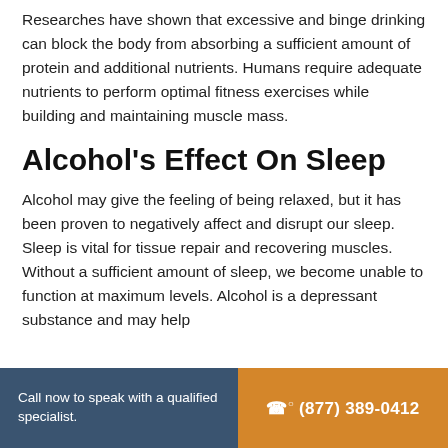Researches have shown that excessive and binge drinking can block the body from absorbing a sufficient amount of protein and additional nutrients. Humans require adequate nutrients to perform optimal fitness exercises while building and maintaining muscle mass.
Alcohol's Effect On Sleep
Alcohol may give the feeling of being relaxed, but it has been proven to negatively affect and disrupt our sleep. Sleep is vital for tissue repair and recovering muscles. Without a sufficient amount of sleep, we become unable to function at maximum levels. Alcohol is a depressant substance and may help
Call now to speak with a qualified specialist. ☎ (877) 389-0412